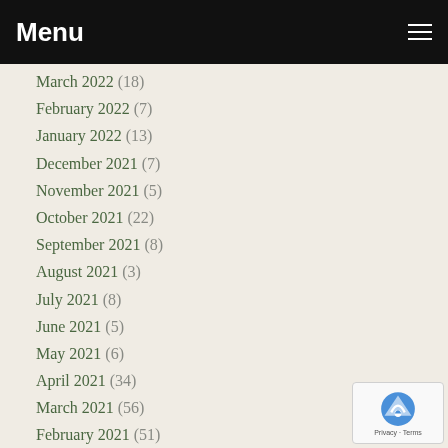Menu
March 2022 (18)
February 2022 (7)
January 2022 (13)
December 2021 (7)
November 2021 (5)
October 2021 (22)
September 2021 (8)
August 2021 (3)
July 2021 (8)
June 2021 (5)
May 2021 (6)
April 2021 (34)
March 2021 (56)
February 2021 (51)
January 2021 (51)
December 2020 (65)
November 2020 (54)
October 2020 (31)
September 2020 (26)